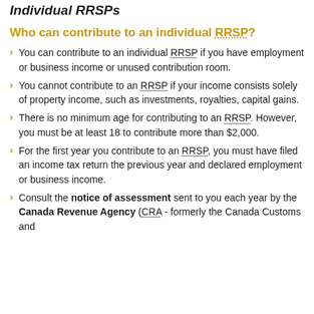Individual RRSPs
Who can contribute to an individual RRSP?
You can contribute to an individual RRSP if you have employment or business income or unused contribution room.
You cannot contribute to an RRSP if your income consists solely of property income, such as investments, royalties, capital gains.
There is no minimum age for contributing to an RRSP. However, you must be at least 18 to contribute more than $2,000.
For the first year you contribute to an RRSP, you must have filed an income tax return the previous year and declared employment or business income.
Consult the notice of assessment sent to you each year by the Canada Revenue Agency (CRA - formerly the Canada Customs and